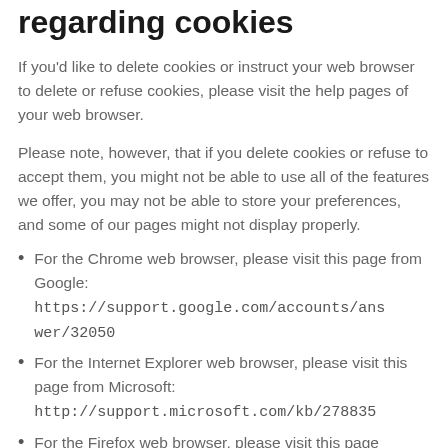regarding cookies
If you'd like to delete cookies or instruct your web browser to delete or refuse cookies, please visit the help pages of your web browser.
Please note, however, that if you delete cookies or refuse to accept them, you might not be able to use all of the features we offer, you may not be able to store your preferences, and some of our pages might not display properly.
For the Chrome web browser, please visit this page from Google: https://support.google.com/accounts/answer/32050
For the Internet Explorer web browser, please visit this page from Microsoft: http://support.microsoft.com/kb/278835
For the Firefox web browser, please visit this page